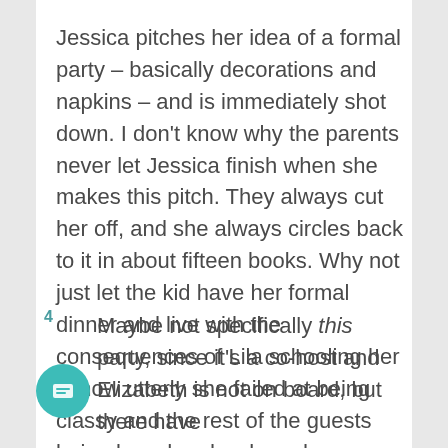Jessica pitches her idea of a formal party – basically decorations and napkins – and is immediately shot down. I don't know why the parents never let Jessica finish when she makes this pitch. They always cut her off, and she always circles back to it in about fifteen books. Why not just let the kid have her formal dinner and live with the consequences of Lila schooling her in how utterly she failed at being classy and the rest of the guests being bored and awkward throughout. I mean, what's the fucking harm in letting a bunch of twelve year olds sit at the dining table for half the party?
Maybe not specifically this party, since it's a co-host and Elizabeth is not on board, but there have